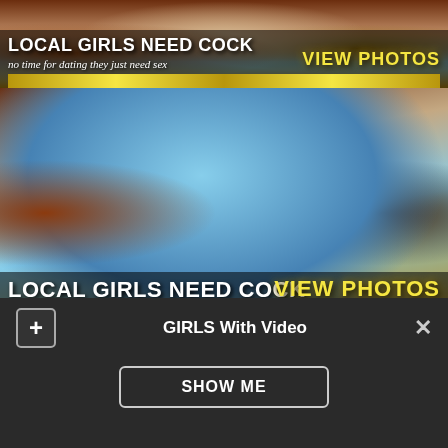[Figure (screenshot): Adult advertisement banner with text overlay: LOCAL GIRLS NEED COCK / VIEW PHOTOS / no time for dating they just need sex]
[Figure (screenshot): Adult advertisement banner repeated with same text overlay and lightning bar at bottom]
[Figure (screenshot): Partial adult advertisement banner cropped at bottom]
GIRLS With Video
SHOW ME